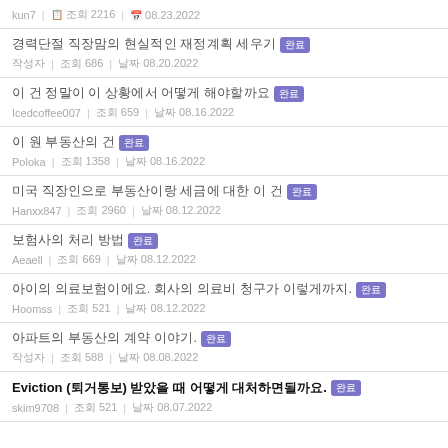kun7 | 조회 2216 | 날짜 08.23.2022
경력단절 직장맘의 현실적인 재정계획 세우기 완료 | 작성자 | 조회 686 | 날짜 08.20.2022
이 건 정말이 이 상황에서 어떻게 해야할까요 완료 | Icedcoffee007 | 조회 659 | 날짜 08.16.2022
이 원 부동산의 건 완료 | Poloka | 조회 1358 | 날짜 08.16.2022
미국 직장인으로 부동산이랑 세금에 대한 이 건 완료 | Hanxx847 | 조회 2960 | 날짜 08.12.2022
보험사의 처리 방법 완료 | Aeaell | 조회 669 | 날짜 08.12.2022
아이의 의료보험이에요. 회사의 의료비 청구가 이렇게까지. 완료 | Hoomss | 조회 521 | 날짜 08.12.2022
아파트의 부동산의 계약 이야기. 완료 | 작성자 | 조회 588 | 날짜 08.08.2022
Eviction (퇴거통보) 받았을 때 어떻게 대처하면될까요. 완료 | skim9708 | 조회 521 | 날짜 08.07.2022